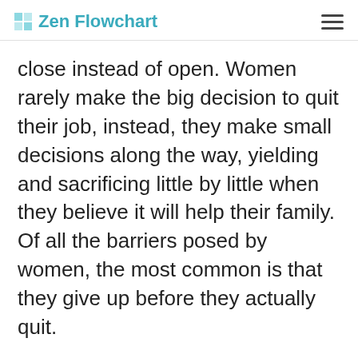Zen Flowchart
close instead of open. Women rarely make the big decision to quit their job, instead, they make small decisions along the way, yielding and sacrificing little by little when they believe it will help their family. Of all the barriers posed by women, the most common is that they give up before they actually quit.
I concur with deliberate preparation. But by not looking for opportunities to challenge themselves during the years